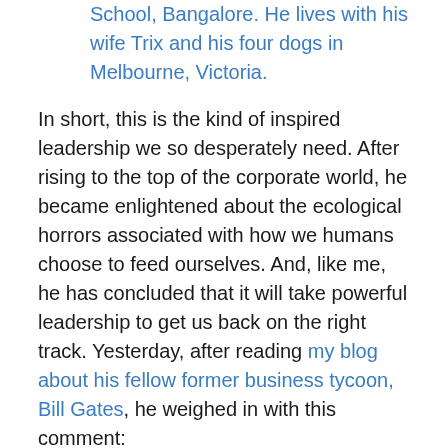School, Bangalore. He lives with his wife Trix and his four dogs in Melbourne, Victoria.
In short, this is the kind of inspired leadership we so desperately need. After rising to the top of the corporate world, he became enlightened about the ecological horrors associated with how we humans choose to feed ourselves. And, like me, he has concluded that it will take powerful leadership to get us back on the right track. Yesterday, after reading my blog about his fellow former business tycoon, Bill Gates, he weighed in with this comment:
Well said, Jim. . . . . If we could only get 5 people in a room and enlighten them to the truth of the animal industrial complex, this world would be on a fast track to sanity . . . . . Xi Jinping, Rupert Murdoch, Pope Francis,